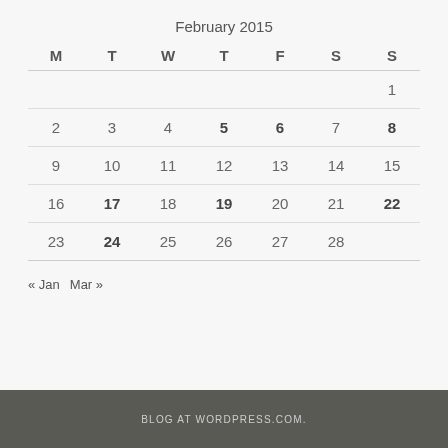February 2015
| M | T | W | T | F | S | S |
| --- | --- | --- | --- | --- | --- | --- |
|  |  |  |  |  |  | 1 |
| 2 | 3 | 4 | 5 | 6 | 7 | 8 |
| 9 | 10 | 11 | 12 | 13 | 14 | 15 |
| 16 | 17 | 18 | 19 | 20 | 21 | 22 |
| 23 | 24 | 25 | 26 | 27 | 28 |  |
« Jan  Mar »
BLOG AT WORDPRESS.COM.